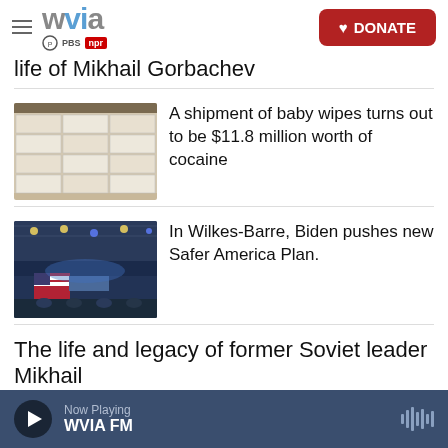WVIA PBS NPR — DONATE
life of Mikhail Gorbachev
[Figure (photo): Stack of white packages resembling baby wipes arranged in rows]
A shipment of baby wipes turns out to be $11.8 million worth of cocaine
[Figure (photo): Indoor arena event with American flag and stage lighting, Biden rally in Wilkes-Barre]
In Wilkes-Barre, Biden pushes new Safer America Plan.
The life and legacy of former Soviet leader Mikhail
Now Playing WVIA FM